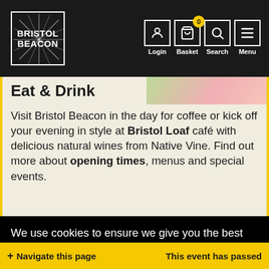[Figure (screenshot): Bristol Beacon website navigation bar with logo, Login, Basket (0), Search, and Menu icons on dark background]
Eat & Drink
Visit Bristol Beacon in the day for coffee or kick off your evening in style at Bristol Loaf café with delicious natural wines from Native Vine. Find out more about opening times, menus and special events.
Find out more  >
We use cookies to ensure we give you the best experience of our website. Learn about how we use them.
Accept
+ Navigate this page     This event has passed